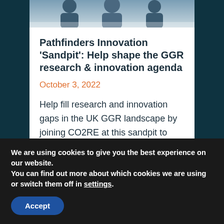[Figure (photo): Partial photo of people in a professional/conference setting, cropped at top of page, with a teal/dark background on either side]
Pathfinders Innovation ‘Sandpit’: Help shape the GGR research & innovation agenda
October 3, 2022
Help fill research and innovation gaps in the UK GGR landscape by joining CO2RE at this sandpit to shape a new funding opportunity for GGR research.
We are using cookies to give you the best experience on our website.
You can find out more about which cookies we are using or switch them off in settings.